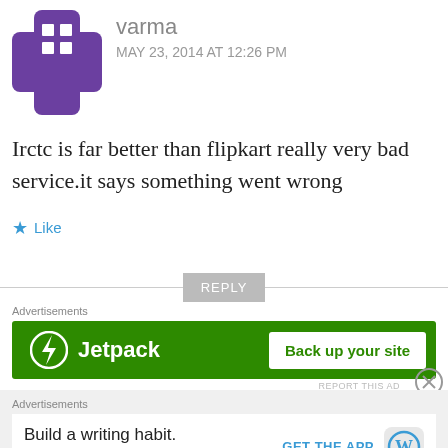[Figure (illustration): Purple Gravatar avatar icon — a cross/plus shape with a grid of white squares]
varma
MAY 23, 2014 AT 12:26 PM
Irctc is far better than flipkart really very bad service.it says something went wrong
Like
REPLY
Advertisements
[Figure (logo): Jetpack advertisement banner — green background with Jetpack logo and 'Back up your site' button]
REPORT THIS AD
Advertisements
[Figure (infographic): WordPress advertisement — 'Build a writing habit. Post on the go.' with GET THE APP button and WordPress logo]
REPORT THIS AD